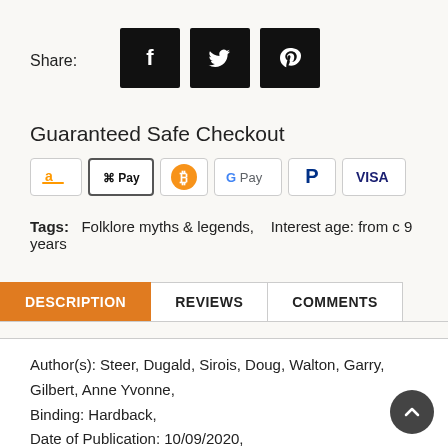Share:
[Figure (infographic): Three social media share buttons: Facebook (f), Twitter (bird), Pinterest (p) — black square icons with white symbols]
Guaranteed Safe Checkout
[Figure (infographic): Payment method icons: Amazon Pay, Apple Pay, Bitcoin, Google Pay, PayPal, VISA]
Tags:   Folklore myths & legends,   Interest age: from c 9 years
DESCRIPTION | REVIEWS | COMMENTS (tab bar)
Author(s): Steer, Dugald, Sirois, Doug, Walton, Garry, Gilbert, Anne Yvonne,
Binding: Hardback,
Date of Publication: 10/09/2020,
Pagination: 28 pages,